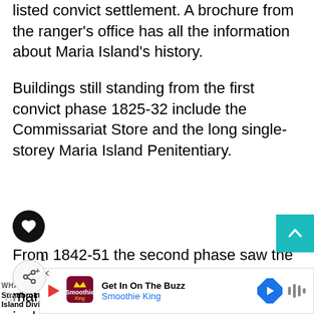listed convict settlement. A brochure from the ranger's office has all the information about Maria Island's history.
Buildings still standing from the first convict phase 1825-32 include the Commissariat Store and the long single-storey Maria Island Penitentiary.
From 1842-51 the second phase saw the site function as a probation station and many buildings remain from this era, including the Convict Barn that dominates the hillside.
[Figure (screenshot): Advertisement banner for Smoothie King with play button, logo, 'Get In On The Buzz' text, navigation arrow icon, and sound wave icon. Also shows UI overlays: heart/favorites button, scroll-to-top button, footnote superscript 1, share button, 'WHAT'S NEXT → Stradbroke Island Diving' label, and a globe icon.]